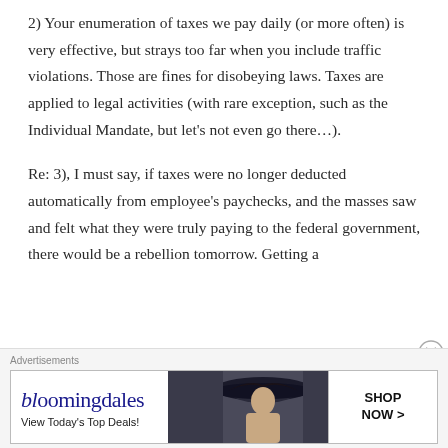2) Your enumeration of taxes we pay daily (or more often) is very effective, but strays too far when you include traffic violations. Those are fines for disobeying laws. Taxes are applied to legal activities (with rare exception, such as the Individual Mandate, but let's not even go there…).
Re: 3), I must say, if taxes were no longer deducted automatically from employee's paychecks, and the masses saw and felt what they were truly paying to the federal government, there would be a rebellion tomorrow. Getting a
[Figure (other): Bloomingdale's advertisement banner: 'View Today's Top Deals!' with image of woman in wide-brim hat and 'SHOP NOW >' button]